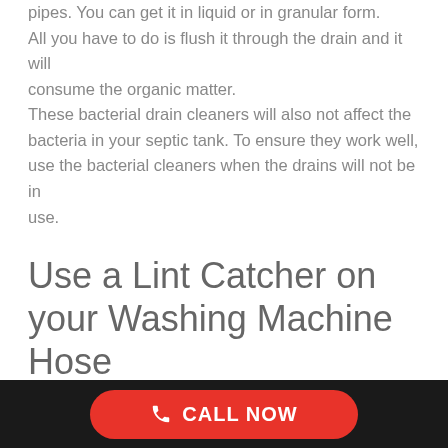pipes. You can get it in liquid or in granular form. All you have to do is flush it through the drain and it will consume the organic matter. These bacterial drain cleaners will also not affect the bacteria in your septic tank. To ensure they work well, use the bacterial cleaners when the drains will not be in use.
Use a Lint Catcher on your Washing Machine Hose
Little pieces of fabric, facial tissue, lint, and sometimes a sock can get through your washing machines drain hose and cause a blockage.
CALL NOW